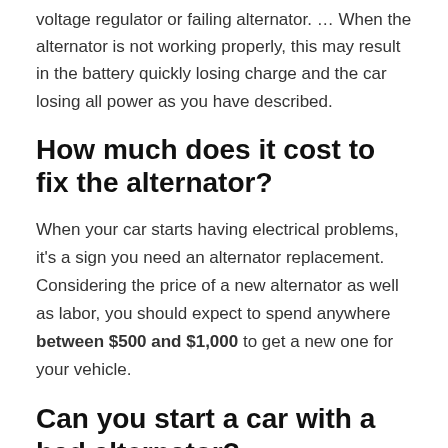voltage regulator or failing alternator. … When the alternator is not working properly, this may result in the battery quickly losing charge and the car losing all power as you have described.
How much does it cost to fix the alternator?
When your car starts having electrical problems, it's a sign you need an alternator replacement. Considering the price of a new alternator as well as labor, you should expect to spend anywhere between $500 and $1,000 to get a new one for your vehicle.
Can you start a car with a bad alternator?